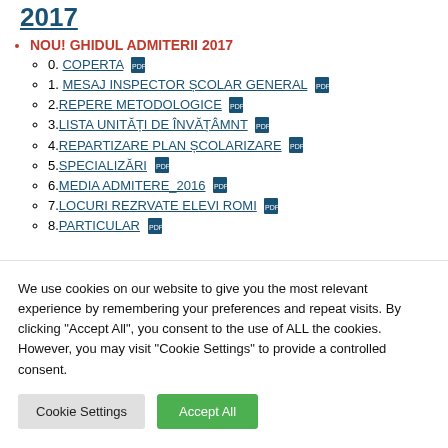2017
NOU! GHIDUL ADMITERII 2017
0. COPERTA
1. MESAJ INSPECTOR ȘCOLAR GENERAL
2.REPERE METODOLOGICE
3.LISTA UNITĂȚI DE ÎNVĂȚÂMNT
4.REPARTIZARE PLAN ȘCOLARIZARE
5.SPECIALIZĂRI
6.MEDIA ADMITERE_2016
7.LOCURI REZRVATE ELEVI ROMI
8.PARTICULAR
We use cookies on our website to give you the most relevant experience by remembering your preferences and repeat visits. By clicking "Accept All", you consent to the use of ALL the cookies. However, you may visit "Cookie Settings" to provide a controlled consent.